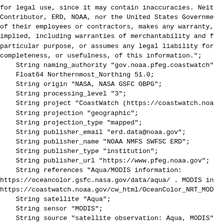for legal use, since it may contain inaccuracies. Neit
Contributor, ERD, NOAA, nor the United States Governme
of their employees or contractors, makes any warranty,
implied, including warranties of merchantability and f
particular purpose, or assumes any legal liability for
completeness, or usefulness, of this information.";
	String naming_authority "gov.noaa.pfeg.coastwatch"
	Float64 Northernmost_Northing 51.0;
	String origin "NASA, NASA GSFC OBPG";
	String processing_level "3";
	String project "CoastWatch (https://coastwatch.noa
	String projection "geographic";
	String projection_type "mapped";
	String publisher_email "erd.data@noaa.gov";
	String publisher_name "NOAA NMFS SWFSC ERD";
	String publisher_type "institution";
	String publisher_url "https://www.pfeg.noaa.gov";
	String references "Aqua/MODIS information:
https://oceancolor.gsfc.nasa.gov/data/aqua/ . MODIS in
https://coastwatch.noaa.gov/cw_html/OceanColor_NRT_MOD
	String satellite "Aqua";
	String sensor "MODIS";
	String source "satellite observation: Aqua, MODIS"
	String sourceUrl "(local files)";
	Float64 Southernmost_Northing 22.0;
	String standard_name_vocabulary "CF Standard Name